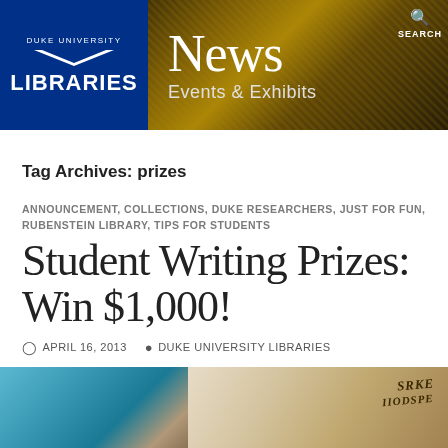[Figure (screenshot): Duke University Libraries News Events & Exhibits banner header with blue logo on left and architectural photo background on right with Search icon]
Tag Archives: prizes
ANNOUNCEMENT, COLLECTIONS, DUKE RESEARCHERS, JUST FOR FUN, RUBENSTEIN LIBRARY, TIPS FOR STUDENTS
Student Writing Prizes: Win $1,000!
APRIL 16, 2013  DUKE UNIVERSITY LIBRARIES
[Figure (photo): Close-up photo of a person's hand with a pen and historical documents]